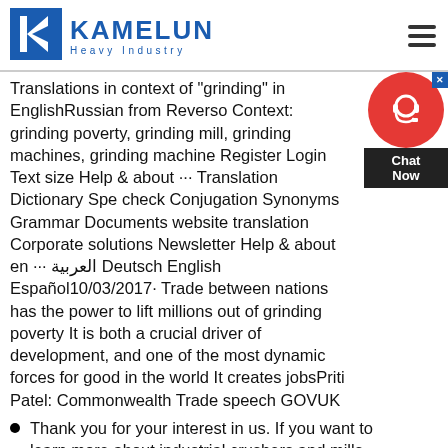[Figure (logo): Kamelun Heavy Industry logo with blue K icon and company name]
Translations in context of "grinding" in EnglishRussian from Reverso Context: grinding poverty, grinding mill, grinding machines, grinding machine Register Login Text size Help & about ··· Translation Dictionary Spell check Conjugation Synonyms Grammar Documents website translation Corporate solutions Newsletter Help & about en ··· العربية Deutsch English Español10/03/2017· Trade between nations has the power to lift millions out of grinding poverty It is both a crucial driver of development, and one of the most dynamic forces for good in the world It creates jobsPriti Patel: Commonwealth Trade speech GOVUK
Thank you for your interest in us. If you want to learn more about industrial crushers and mills, please contact us immediately to learn what we can do for your next project.